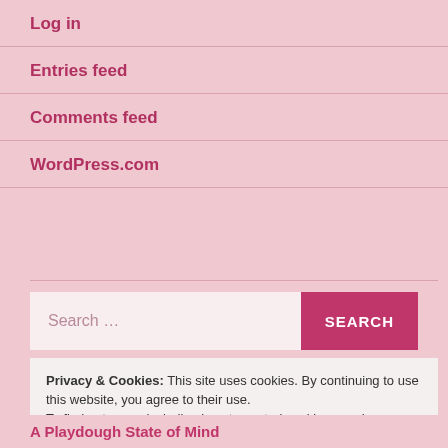Log in
Entries feed
Comments feed
WordPress.com
[Figure (screenshot): Search bar with text input placeholder 'Search ...' and a pink SEARCH button]
Privacy & Cookies: This site uses cookies. By continuing to use this website, you agree to their use. To find out more, including how to control cookies, see here: Cookie Policy
Close and accept
A Playdough State of Mind